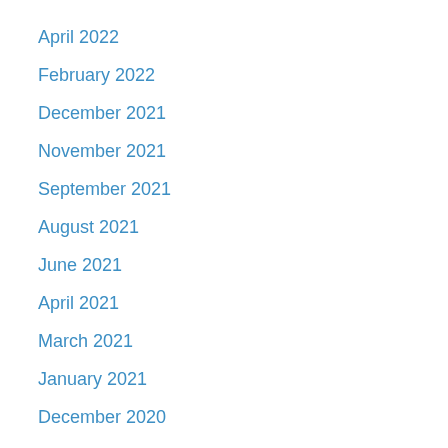April 2022
February 2022
December 2021
November 2021
September 2021
August 2021
June 2021
April 2021
March 2021
January 2021
December 2020
November 2020
July 2020
June 2020
May 2020
April 2020
March 2020
February 2020
January 2020
December 2019